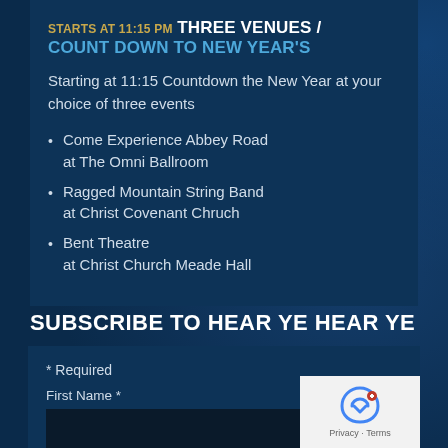STARTS AT 11:15 PM THREE VENUES / COUNT DOWN TO NEW YEAR'S
Starting at 11:15 Countdown the New Year at your choice of three events
Come Experience Abbey Road at The Omni Ballroom
Ragged Mountain String Band at Christ Covenant Chruch
Bent Theatre at Christ Church Meade Hall
SUBSCRIBE TO HEAR YE HEAR YE
* Required
First Name *